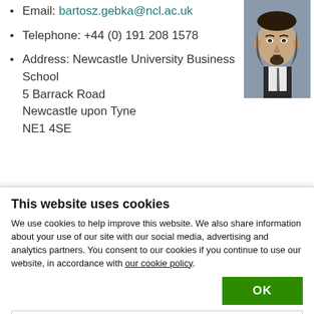Email: bartosz.gebka@ncl.ac.uk
Telephone: +44 (0) 191 208 1578
Address: Newcastle University Business School
5 Barrack Road
Newcastle upon Tyne
NE1 4SE
[Figure (photo): Headshot photo of a man with dark hair and a goatee beard, wearing a dark suit and tie, against a grey/blue background.]
Background
This website uses cookies
We use cookies to help improve this website. We also share information about your use of our site with our social media, advertising and analytics partners. You consent to our cookies if you continue to use our website, in accordance with our cookie policy.
OK
Necessary   Preferences   Statistics   Marketing